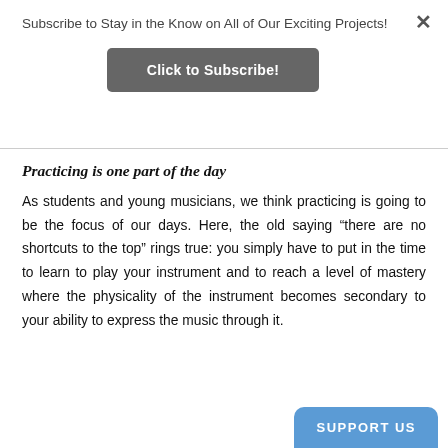Subscribe to Stay in the Know on All of Our Exciting Projects!
Click to Subscribe!
Practicing is one part of the day
As students and young musicians, we think practicing is going to be the focus of our days. Here, the old saying “there are no shortcuts to the top” rings true: you simply have to put in the time to learn to play your instrument and to reach a level of mastery where the physicality of the instrument becomes secondary to your ability to express the music through it.
SUPPORT US